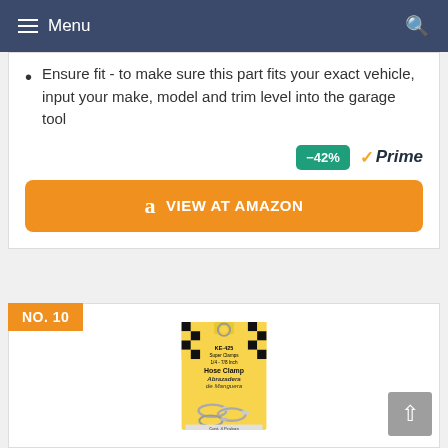Menu
Ensure fit - to make sure this part fits your exact vehicle, input your make, model and trim level into the garage tool
[Figure (screenshot): Orange VIEW AT AMAZON button with Amazon logo, and -42% discount badge and Prime logo above it]
NO. 10
[Figure (photo): Hose Clamp / Abrazadera de Manguera product package on yellow background with metal clamps shown]